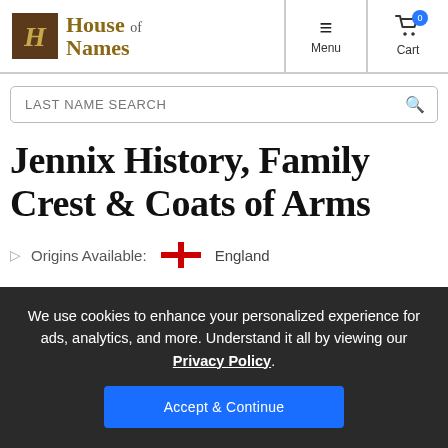[Figure (logo): House of Names logo with stylized H in brown square and gothic text]
Menu
Cart 0
LAST NAME SEARCH
Jennix History, Family Crest & Coats of Arms
Origins Available: England
We use cookies to enhance your personalized experience for ads, analytics, and more. Understand it all by viewing our Privacy Policy.
Accept & Continue